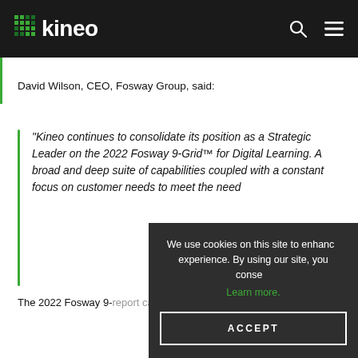kineo
David Wilson, CEO, Fosway Group, said:
“Kineo continues to consolidate its position as a Strategic Leader on the 2022 Fosway 9-Grid™ for Digital Learning. A broad and deep suite of capabilities coupled with a constant focus [on customer needs to] meet the need[s of our clients]”
The 2022 Fosway 9-[Grid report and related] report can be viewed here
We use cookies on this site to enhance your experience. By using our site, you consent [to cookies]. Learn more. ACCEPT